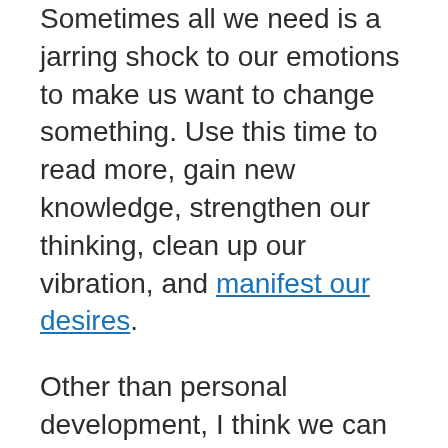Sometimes all we need is a jarring shock to our emotions to make us want to change something. Use this time to read more, gain new knowledge, strengthen our thinking, clean up our vibration, and manifest our desires.
Other than personal development, I think we can use this opportunity to spend more time with our loved ones, and do the things we always wanted to do but don't have the time for. Maybe you've always wanted to learn (proper) cooking? Hopefully, we will soon manage to rise above this and come back stronger than ever.
And that's it. Hopefully I've managed to help